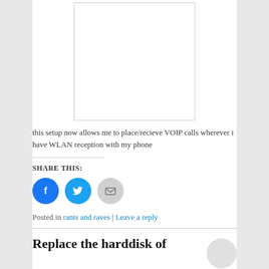[Figure (other): Blank white image with thin border, centered on page]
this setup now allows me to place/recieve VOIP calls wherever i have WLAN reception with my phone
SHARE THIS:
[Figure (infographic): Three social share icon circles: Facebook (blue), Twitter (blue), Email (grey)]
Posted in rants and raves | Leave a reply
Replace the harddisk of